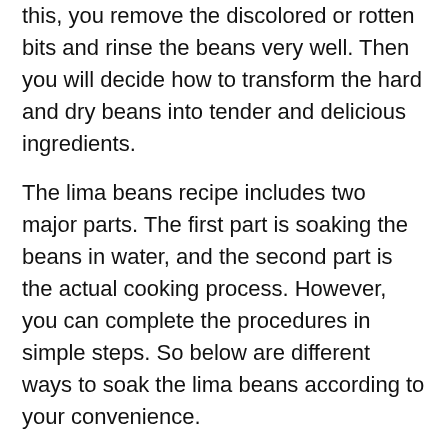this, you remove the discolored or rotten bits and rinse the beans very well. Then you will decide how to transform the hard and dry beans into tender and delicious ingredients.
The lima beans recipe includes two major parts. The first part is soaking the beans in water, and the second part is the actual cooking process. However, you can complete the procedures in simple steps. So below are different ways to soak the lima beans according to your convenience.
Quick Soaking of Lima Beans
If you are in a hurry and there is no time to soak the lima beans overnight, you can follow